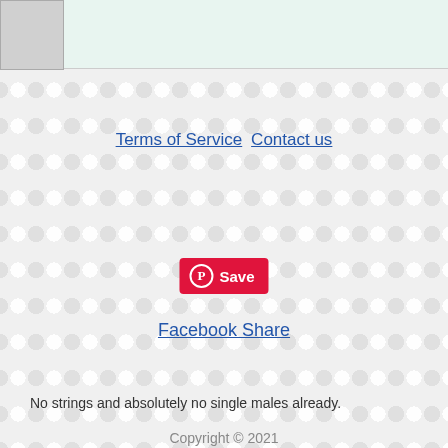[Figure (screenshot): Decorative tiled geometric pattern background (light grey circles/diamonds) with a mint-green top bar area and a small grey image thumbnail in the top-left corner]
Terms of Service  Contact us
[Figure (other): Pinterest Save button — red pill-shaped button with Pinterest P logo and 'Save' text in white]
Facebook Share
No strings and absolutely no single males already.
Copyright © 2021